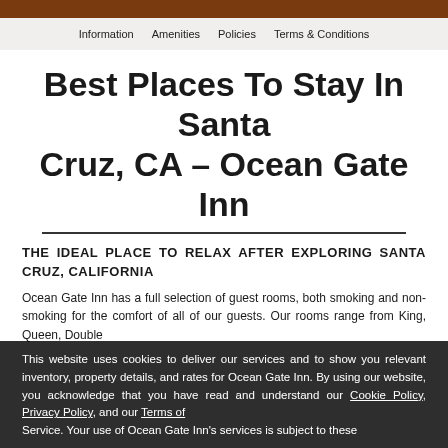Information  Amenities  Policies  Terms & Conditions
Best Places To Stay In Santa Cruz, CA – Ocean Gate Inn
THE IDEAL PLACE TO RELAX AFTER EXPLORING SANTA CRUZ, CALIFORNIA
Ocean Gate Inn has a full selection of guest rooms, both smoking and non-smoking for the comfort of all of our guests. Our rooms range from King, Queen, Double
This website uses cookies to deliver our services and to show you relevant inventory, property details, and rates for Ocean Gate Inn. By using our website, you acknowledge that you have read and understand our Cookie Policy, Privacy Policy, and our Terms of Service. Your use of Ocean Gate Inn's services is subject to these policies and terms.